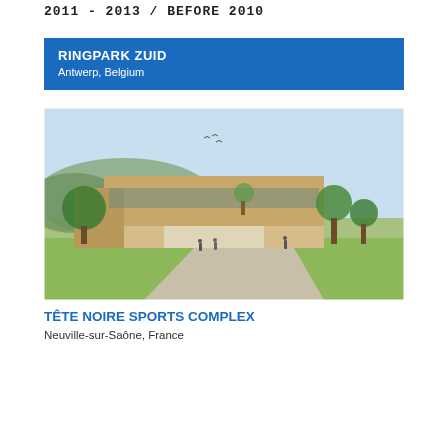2011 - 2013 / BEFORE 2010
RINGPARK ZUID
Antwerp, Belgium
[Figure (photo): Architectural rendering of Tête Noire Sports Complex — a modern low-rise building with beige/tan cladding, large windows, trees and green lawn in foreground, hills in background.]
TÊTE NOIRE SPORTS COMPLEX
Neuville-sur-Saône, France